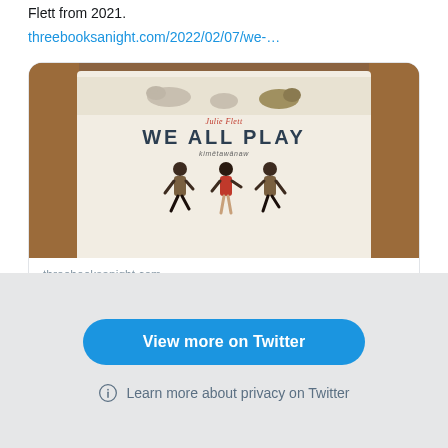Flett from 2021.
threebooksanight.com/2022/02/07/we-…
[Figure (photo): Book cover of 'We All Play' by Julie Flett, showing three children playing, with animals illustrated at the top. The cover text reads 'Julie Flett / WE ALL PLAY / kimêtawânaw'.]
threebooksanight.com
Review: We All Play By Julie Flett
View more on Twitter
Learn more about privacy on Twitter